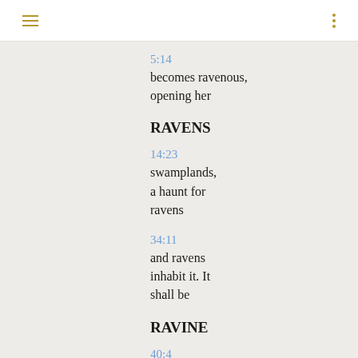5:14
becomes ravenous, opening her
RAVENS
14:23
swamplands, a haunt for ravens
34:11
and ravens inhabit it. It shall be
RAVINE
40:4
every ravine